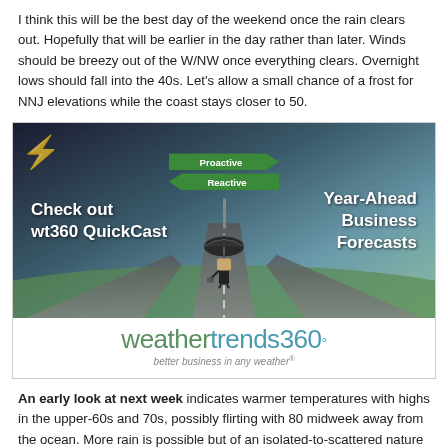I think this will be the best day of the weekend once the rain clears out. Hopefully that will be earlier in the day rather than later. Winds should be breezy out of the W/NW once everything clears. Overnight lows should fall into the 40s. Let's allow a small chance of a frost for NNJ elevations while the coast stays closer to 50.
[Figure (illustration): Advertisement for weathertrends360 wt360 QuickCast showing a businessman with umbrella at a road junction with green directional signs for Proactive and Reactive, text reading Year-Ahead Business Forecasts, and the weathertrends360 logo with tagline better business in any weather]
An early look at next week indicates warmer temperatures with highs in the upper-60s and 70s, possibly flirting with 80 midweek away from the ocean. More rain is possible but of an isolated-to-scattered nature (showers and thunderstorms)… not the prolonged widespread wet conditions we had this week. Everyone have a great weekend and be safe! JC